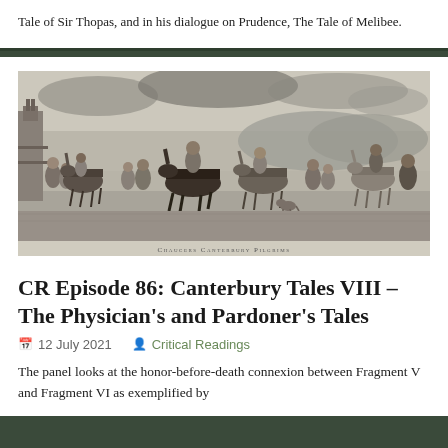Tale of Sir Thopas, and in his dialogue on Prudence, The Tale of Melibee.
[Figure (illustration): A black and white engraving titled 'Chaucers Canterbury Pilgrims' showing a procession of pilgrims on horseback and on foot, with various figures in medieval costume traveling across a landscape.]
CR Episode 86: Canterbury Tales VIII – The Physician's and Pardoner's Tales
12 July 2021
Critical Readings
The panel looks at the honor-before-death connexion between Fragment V and Fragment VI as exemplified by